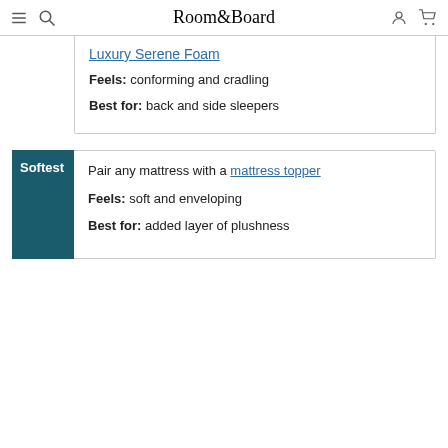Room&Board
Luxury Serene Foam
Feels: conforming and cradling
Best for: back and side sleepers
Softest
Pair any mattress with a mattress topper
Feels: soft and enveloping
Best for: added layer of plushness